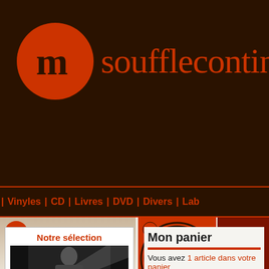[Figure (logo): Soufflecontinnu website header with orange/red circular logo featuring stylized 'm' letters and site name text in orange on dark brown background]
soufflecontinnu
| Vinyles | CD | Livres | DVD | Divers | Lab
Accueil
[Figure (illustration): Orange and dark brown spiral vinyl record graphic]
[Figure (photo): Red-tinted abstract photo]
Notre sélection
[Figure (photo): Black and white photo of person wearing glasses]
Mon panier
Vous avez 1 article dans votre panier